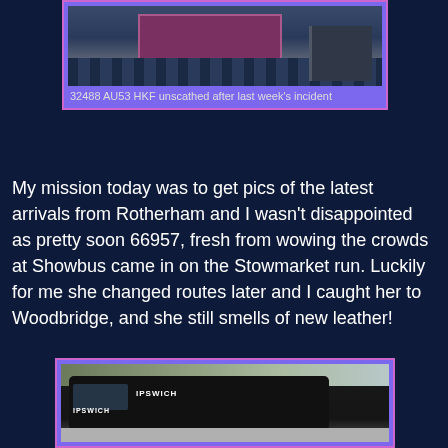[Figure (photo): Photo of a bus or vehicle at a station with railings, shown in a purple-bordered frame]
32488 AU53 HKF unscathed after last week's incident
My mission today was to get pics of the latest arrivals from Rotherham and I wasn't disappointed as pretty soon 66957, fresh from wowing the crowds at Showbus came in on the Stowmarket run. Luckily for me she changed routes later and I caught her to Woodbridge, and she still smells of new leather!
[Figure (photo): Photo of a dark-coloured Ipswich-branded single-decker bus parked in a town centre setting]